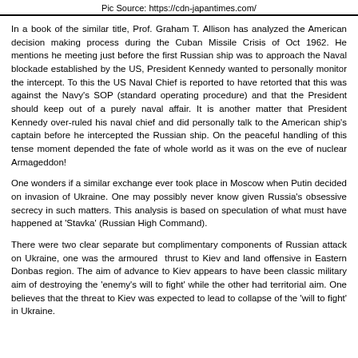Pic Source: https://cdn-japantimes.com/
In a book of the similar title, Prof. Graham T. Allison has analyzed the American decision making process during the Cuban Missile Crisis of Oct 1962. He mentions how at the ExCom meeting just before the first Russian ship was to approach the Naval blockade established by the US, President Kennedy wanted to personally monitor the intercept. To this the US Naval Chief is reported to have retorted that this was against the Navy's SOP (standard operating procedure) and that the President should keep out of a purely naval affair. It is another matter that President Kennedy over-ruled his naval chief and did personally talk to the American ship's captain before he intercepted the Russian ship. On the peaceful handling of this tense moment depended the fate of whole world as it was on the eve of nuclear Armageddon!
One wonders if a similar exchange ever took place in Moscow when Putin decided on invasion of Ukraine. One may possibly never know given Russia's obsessive secrecy in such matters. This analysis is based on speculation of what must have happened at 'Stavka' (Russian High Command).
There were two clear separate but complimentary components of Russian attack on Ukraine, one was the armoured thrust to Kiev and land offensive in East Ukraine in Donbas region. The aim of advance to Kiev appears to have been classic military aim of destroying the 'enemy's will to fight' while the other had territorial aim. One is given to believe that the threat to Kiev was expected to lead to collapse of the 'will to fight' in Ukraine.